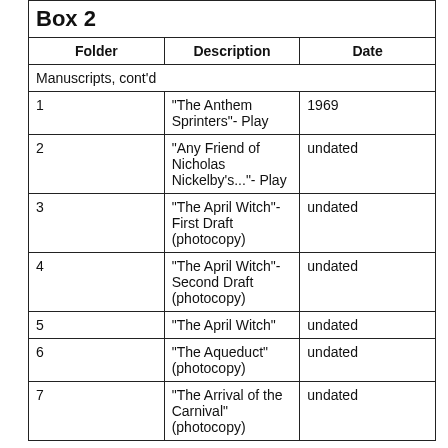| Folder | Description | Date |
| --- | --- | --- |
|  | Manuscripts, cont'd |  |
| 1 | "The Anthem Sprinters"- Play | 1969 |
| 2 | "Any Friend of Nicholas Nickelby's..."- Play | undated |
| 3 | "The April Witch"- First Draft (photocopy) | undated |
| 4 | "The April Witch"- Second Draft (photocopy) | undated |
| 5 | "The April Witch" | undated |
| 6 | "The Aqueduct" (photocopy) | undated |
| 7 | "The Arrival of the Carnival" (photocopy) | undated |